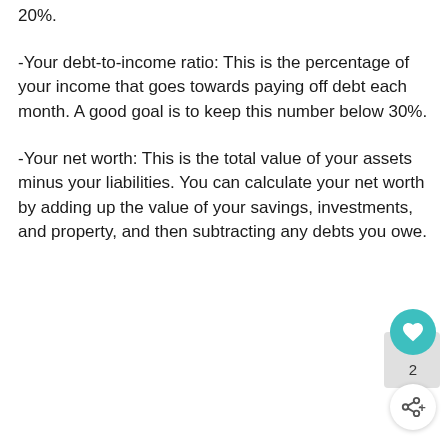20%.
-Your debt-to-income ratio: This is the percentage of your income that goes towards paying off debt each month. A good goal is to keep this number below 30%.
-Your net worth: This is the total value of your assets minus your liabilities. You can calculate your net worth by adding up the value of your savings, investments, and property, and then subtracting any debts you owe.